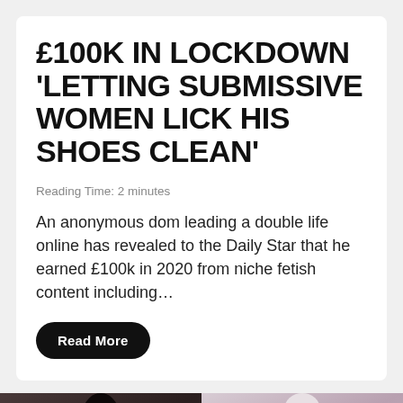£100K IN LOCKDOWN 'LETTING SUBMISSIVE WOMEN LICK HIS SHOES CLEAN'
Reading Time: 2 minutes
An anonymous dom leading a double life online has revealed to the Daily Star that he earned £100k in 2020 from niche fetish content including…
Read More
[Figure (photo): Two photos side by side showing women in costumes/outfits]